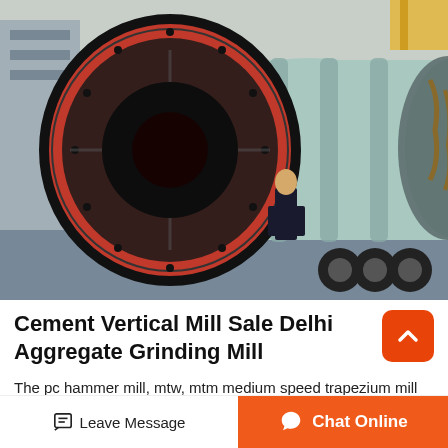[Figure (photo): Large industrial ball mill/grinding mill mounted on a heavy transport truck flatbed, with a prominent red circular front face and gray-green cylindrical body. A person stands beside it for scale. Industrial facility in background.]
Cement Vertical Mill Sale Delhi Aggregate Grinding Mill
The pc hammer mill, mtw, mtm medium speed trapezium mill and ball mill which have been main grinding...